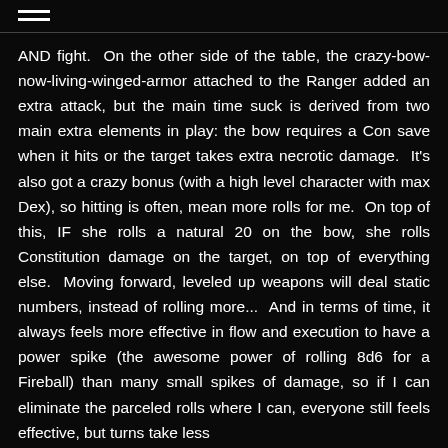≡
AND fight.  On the other side of the table, the crazy-bow-now-living-winged-armor attached to the Ranger added an extra attack, but the main time suck is derived from two main extra elements in play: the bow requires a Con save when it hits or the target takes extra necrotic damage.  It's also got a crazy bonus (with a high level character with max Dex), so hitting is often, mean more rolls for me.  On top of this, IF she rolls a natural 20 on the bow, she rolls Constitution damage on the target, on top of everything else.  Moving forward, leveled up weapons will deal static numbers, instead of rolling more...  And in terms of time, it always feels more effective in flow and execution to have a power spike (the awesome power of rolling 8d6 for a Fireball) than many small spikes of damage, so if I can eliminate the parceled rolls where I can, everyone still feels effective, but turns take less